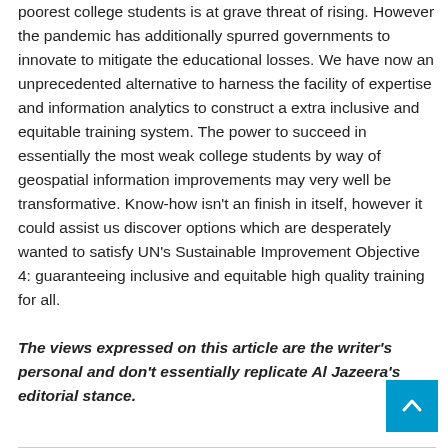poorest college students is at grave threat of rising. However the pandemic has additionally spurred governments to innovate to mitigate the educational losses. We have now an unprecedented alternative to harness the facility of expertise and information analytics to construct a extra inclusive and equitable training system. The power to succeed in essentially the most weak college students by way of geospatial information improvements may very well be transformative. Know-how isn't an finish in itself, however it could assist us discover options which are desperately wanted to satisfy UN's Sustainable Improvement Objective 4: guaranteeing inclusive and equitable high quality training for all.
The views expressed on this article are the writer's personal and don't essentially replicate Al Jazeera's editorial stance.